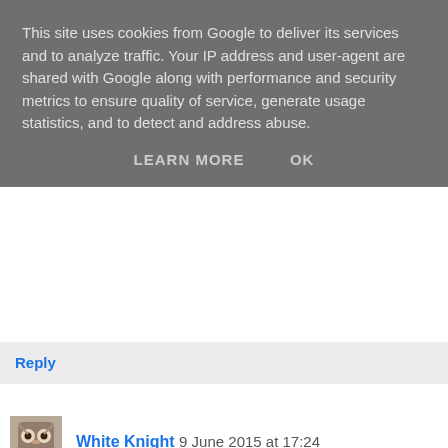This site uses cookies from Google to deliver its services and to analyze traffic. Your IP address and user-agent are shared with Google along with performance and security metrics to ensure quality of service, generate usage statistics, and to detect and address abuse.
LEARN MORE   OK
Reply
White Knight 9 June 2015 at 17:24
By the look of things in Birmingham, the guy with the screwdriver also needs to install a postbox as well. Perhaps he's got a sonic screwdriver.
Reply
Martin 10 June 2015 at 10:45
Went to Abbotsbury yesterday; the village apparently only